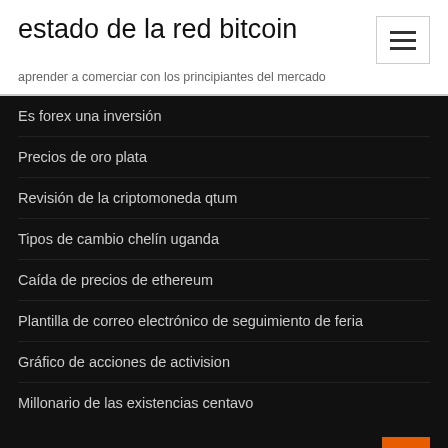estado de la red bitcoin
aprender a comerciar con los principiantes del mercado
Es forex una inversión
Precios de oro plata
Revisión de la criptomoneda qtum
Tipos de cambio chelín uganda
Caída de precios de ethereum
Plantilla de correo electrónico de seguimiento de feria
Gráfico de acciones de activision
Millonario de las existencias centavo
Featured Posts